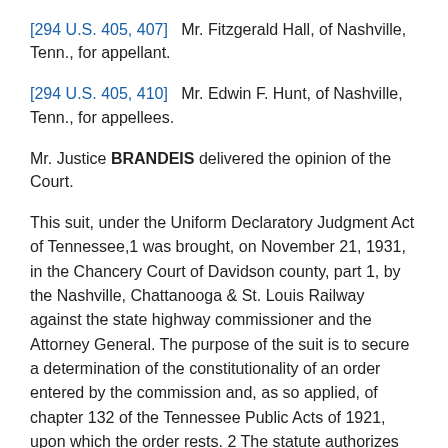[294 U.S. 405, 407]   Mr. Fitzgerald Hall, of Nashville, Tenn., for appellant.
[294 U.S. 405, 410]   Mr. Edwin F. Hunt, of Nashville, Tenn., for appellees.
Mr. Justice BRANDEIS delivered the opinion of the Court.
This suit, under the Uniform Declaratory Judgment Act of Tennessee,1 was brought, on November 21, 1931, in the Chancery Court of Davidson county, part 1, by the Nashville, Chattanooga & St. Louis Railway against the state highway commissioner and the Attorney General. The purpose of the suit is to secure a determination of the constitutionality of an order entered by the commission and, as so applied, of chapter 132 of the Tennessee Public Acts of 1921, upon which the order rests. 2 The statute authorizes the commission whenever a state highway crosses a railroad to